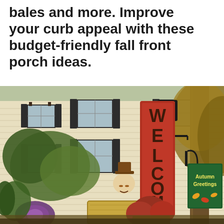bales and more. Improve your curb appeal with these budget-friendly fall front porch ideas.
[Figure (photo): A suburban two-story house with white/cream siding and dark shutters, decorated for fall. In the foreground is a black lamp post with a tall red vertical WELCOME sign, a scarecrow figure, hay bales, red mum flowers, an 'Autumn Greetings' green sign, and ornamental cabbage plants.]